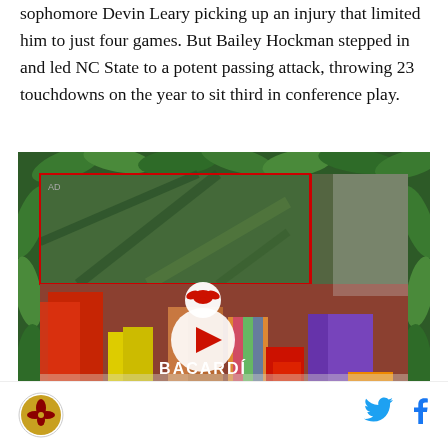sophomore Devin Leary picking up an injury that limited him to just four games. But Bailey Hockman stepped in and led NC State to a potent passing attack, throwing 23 touchdowns on the year to sit third in conference play.
[Figure (photo): Bacardi advertisement video thumbnail showing people in colorful outfits at a party, with tropical leaf border, a play button, Bacardi logo and tagline 'DO WHAT MOVES YOU'. Red border frame inside tropical frame. AD label in top left.]
Logo icon | Twitter bird icon | Facebook f icon